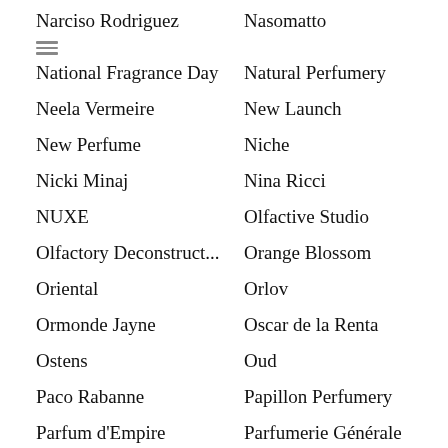Narciso Rodriguez
Nasomatto
National Fragrance Day
Natural Perfumery
Neela Vermeire
New Launch
New Perfume
Niche
Nicki Minaj
Nina Ricci
NUXE
Olfactive Studio
Olfactory Deconstruct...
Orange Blossom
Oriental
Orlov
Ormonde Jayne
Oscar de la Renta
Ostens
Oud
Paco Rabanne
Papillon Perfumery
Parfum d'Empire
Parfumerie Générale
Parfums de Marly
Parle Moi de Parfum